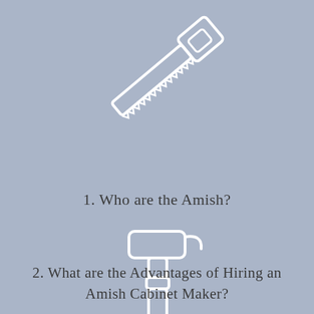[Figure (illustration): White outline icon of a hand saw, tilted diagonally, on a blue-grey background]
1. Who are the Amish?
[Figure (illustration): White outline icon of a hammer, facing downward, on a blue-grey background]
2. What are the Advantages of Hiring an Amish Cabinet Maker?